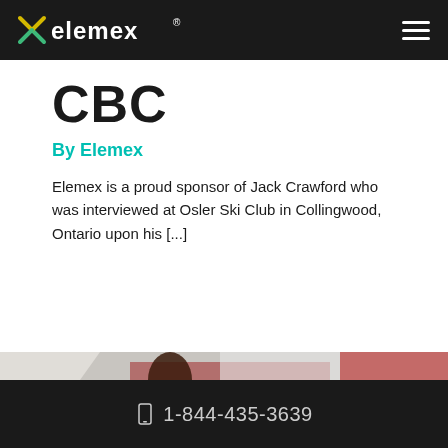[Figure (logo): Elemex logo with stylized X mark in green/yellow and white text on dark nav bar, with hamburger menu icon on right]
CBC
By Elemex
Elemex is a proud sponsor of Jack Crawford who was interviewed at Osler Ski Club in Collingwood, Ontario upon his [...]
[Figure (photo): Person in dark red Canada jacket and Canada hat raising fist in celebration, holding what appears to be a medal, with Canadian flag in background]
1-844-435-3639